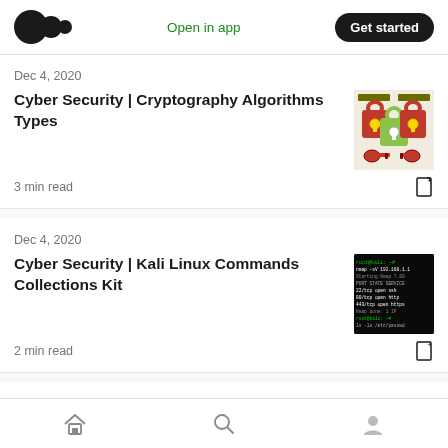Medium logo | Open in app | Get started
Dec 4, 2020
Cyber Security | Cryptography Algorithms Types
3 min read
Dec 4, 2020
Cyber Security | Kali Linux Commands Collections Kit
2 min read
Dec 4, 2020
Home | Search | Profile